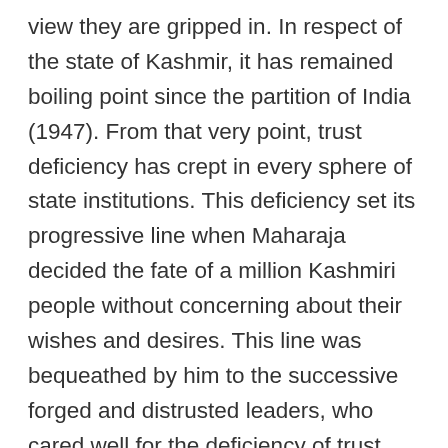view they are gripped in. In respect of the state of Kashmir, it has remained boiling point since the partition of India (1947). From that very point, trust deficiency has crept in every sphere of state institutions. This deficiency set its progressive line when Maharaja decided the fate of a million Kashmiri people without concerning about their wishes and desires. This line was bequeathed by him to the successive forged and distrusted leaders, who cared well for the deficiency of trust more than their life. After Maharaja it was Sheikh Abdullah who did everything to put common people at stake for petty personal gains. Again the line of trust deficit was well served by the leader whom people believed as Messiah. Though how much one could be adept in his work as sheikh was